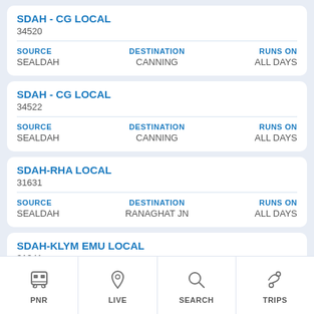SDAH - CG LOCAL
34520
| SOURCE | DESTINATION | RUNS ON |
| --- | --- | --- |
| SEALDAH | CANNING | ALL DAYS |
SDAH - CG LOCAL
34522
| SOURCE | DESTINATION | RUNS ON |
| --- | --- | --- |
| SEALDAH | CANNING | ALL DAYS |
SDAH-RHA LOCAL
31631
| SOURCE | DESTINATION | RUNS ON |
| --- | --- | --- |
| SEALDAH | RANAGHAT JN | ALL DAYS |
SDAH-KLYM EMU LOCAL
31341
PNR  LIVE  SEARCH  TRIPS